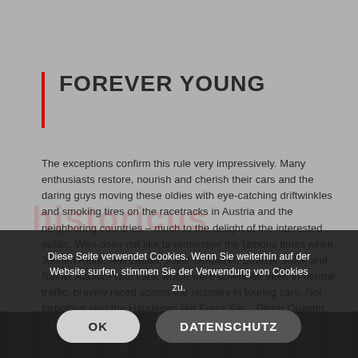FOREVER YOUNG
The exceptions confirm this rule very impressively. Many enthusiasts restore, nourish and cherish their cars and the daring guys moving these oldies with eye-catching driftwinkles and smoking tires on the racetracks in Austria and the neighboring countries – much to the delight of the interested public. Who does not like to remember the famous times when Jochen Rindt, Niki Lauda, Josef Schnitzer, Striezel Stuck and Rainer Attolorn with cars, which were otherwise seen in normal traffic, bravely raced across the victories in touring cars. Not forgetting also the Haudegen like Franz Sala, Dieter Quester and 8 emperors of the Ford Mustang and Alfa T...
Diese Seite verwendet Cookies. Wenn Sie weiterhin auf der Website surfen, stimmen Sie der Verwendung von Cookies zu.
[Figure (photo): Dark strip at bottom of page showing a racetrack or car scene in monochrome]